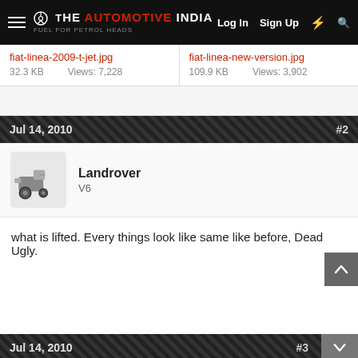The Automotive India — Log In  Sign Up
fiat-linea-2009-t-jet.jpg  32.3 KB  Views: 7,228
fiat-linea-new-version.jpg  109.9 KB  Views: 3,902
Jul 14, 2010  #2
Landrover
V6
what is lifted. Every things look like same like before, Dead Ugly.
Jul 14, 2010  #3
RSM
V10